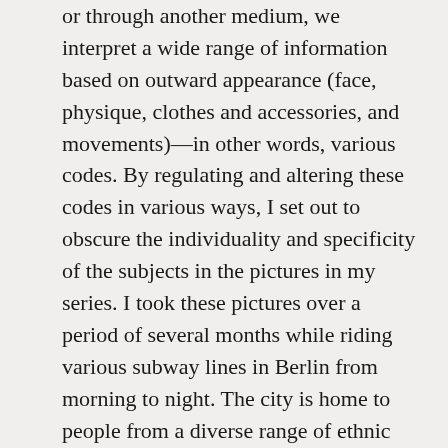or through another medium, we interpret a wide range of information based on outward appearance (face, physique, clothes and accessories, and movements)—in other words, various codes. By regulating and altering these codes in various ways, I set out to obscure the individuality and specificity of the subjects in the pictures in my series. I took these pictures over a period of several months while riding various subway lines in Berlin from morning to night. The city is home to people from a diverse range of ethnic backgrounds. On the train, the air is not only filled with German, English, and other European languages, but also many languages from the Middle East and Asia. For someone like me, who was born and raised in the racially homogenous country Japan, it seems as if these codes, unleashed from every direction and